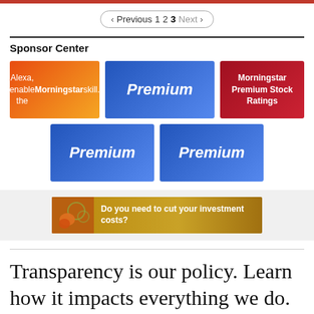< Previous 1 2 3 Next >
Sponsor Center
[Figure (infographic): Alexa, enable the Morningstar skill. Orange gradient ad banner.]
[Figure (infographic): Premium blue gradient ad banner.]
[Figure (infographic): Morningstar Premium Stock Ratings red ad banner.]
[Figure (infographic): Premium blue gradient ad banner.]
[Figure (infographic): Premium blue gradient ad banner.]
[Figure (infographic): Do you need to cut your investment costs? Gold banner ad.]
Transparency is our policy. Learn how it impacts everything we do.